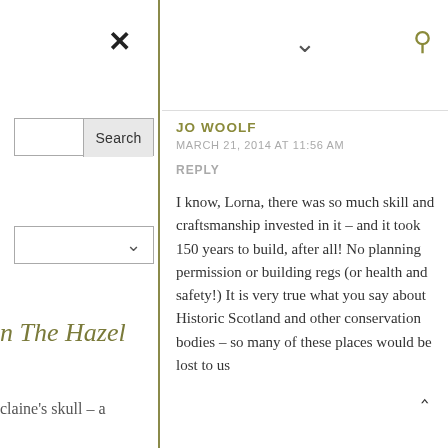×
Search
∨
n The Hazel
claine's skull – a
∨
🔍
JO WOOLF
MARCH 21, 2014 AT 11:56 AM
REPLY
I know, Lorna, there was so much skill and craftsmanship invested in it – and it took 150 years to build, after all! No planning permission or building regs (or health and safety!) It is very true what you say about Historic Scotland and other conservation bodies – so many of these places would be lost to us